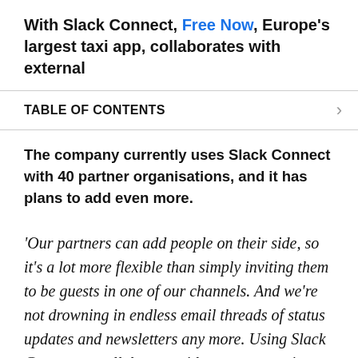With Slack Connect, Free Now, Europe's largest taxi app, collaborates with external
TABLE OF CONTENTS
The company currently uses Slack Connect with 40 partner organisations, and it has plans to add even more.
'Our partners can add people on their side, so it's a lot more flexible than simply inviting them to be guests in one of our channels. And we're not drowning in endless email threads of status updates and newsletters any more. Using Slack Connect to collaborate with our partners is so much better.'